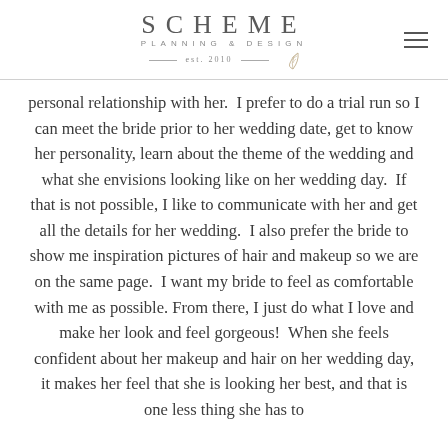SCHEME PLANNING & DESIGN est. 2010
personal relationship with her.  I prefer to do a trial run so I can meet the bride prior to her wedding date, get to know her personality, learn about the theme of the wedding and what she envisions looking like on her wedding day.  If that is not possible, I like to communicate with her and get all the details for her wedding.  I also prefer the bride to show me inspiration pictures of hair and makeup so we are on the same page.  I want my bride to feel as comfortable with me as possible. From there, I just do what I love and make her look and feel gorgeous!  When she feels confident about her makeup and hair on her wedding day, it makes her feel that she is looking her best, and that is one less thing she has to